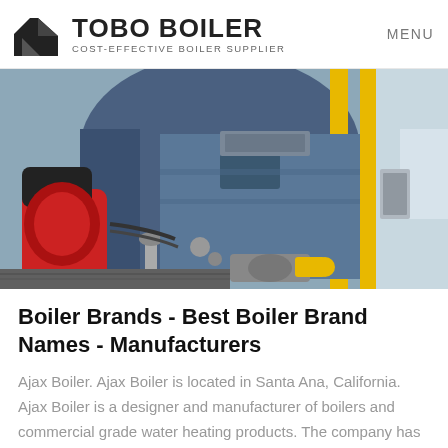[Figure (logo): Tobo Boiler logo with geometric black icon and text 'TOBO BOILER' and subtitle 'COST-EFFECTIVE BOILER SUPPLIER']
MENU
[Figure (photo): Industrial boiler room photograph showing a large blue cylindrical boiler with red burner assembly, yellow pipes/rails, valves, and gas control equipment on the front face of the boiler.]
Boiler Brands - Best Boiler Brand Names - Manufacturers
Ajax Boiler. Ajax Boiler is located in Santa Ana, California. Ajax Boiler is a designer and manufacturer of boilers and commercial grade water heating products. The company has extensive industrial experience and expertise in…